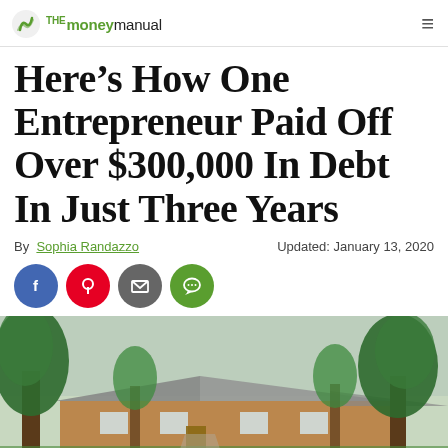The Money Manual
Here’s How One Entrepreneur Paid Off Over $300,000 In Debt In Just Three Years
By Sophia Randazzo    Updated: January 13, 2020
[Figure (photo): Exterior photo of a house with large trees in front, green foliage, suburban neighborhood setting.]